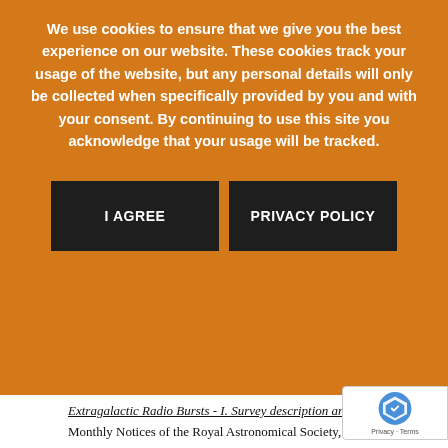We use cookies to ensure that we give you the best experience on our website. These cookies track your usage of the website, but any personal details will only be collected when specifically provided by you and with your consent. By continuing to use this site you acknowledge that your usage will be tracked.
I AGREE | PRIVACY POLICY
Extragalactic Radio Bursts - I. Survey description and overview, Monthly Notices of the Royal Astronomical Society, 473, 116.
Kelley, K., Quinn, P. J. (2017) "A Radio Astronomy Search for Cold Dark Matter Axions", The Astrophysical Journal, 845, L4.
Kettlety, T., Hesling, J., Phillipps, S., Bremer, M. N., Cluver, M. E., Taylor, E. N., Bland-Hawthorn, J., Brough, S., De Propris, R., Driver, S. P., Holwerda, B. W., Kelvin, L. S., Sutherland, W., Wright, A. H. (2018) "Galaxy and mass assembly (GAMA): the consistency of GAMA and WISE derived mass-to-light ratios", Monthly Notices of the Royal Astronomical Society, 473, 776.